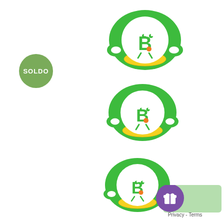[Figure (photo): Green and yellow baby pacifier with letter B cartoon character, shown three times stacked vertically. Each pacifier has a green heart-shaped shield, yellow ring, and white circular center with a green animated letter B character.]
[Figure (logo): Green circular badge with text SOLDO in white]
[Figure (other): Purple circular badge with gift box icon, and Privacy - Terms text below, bottom right corner]